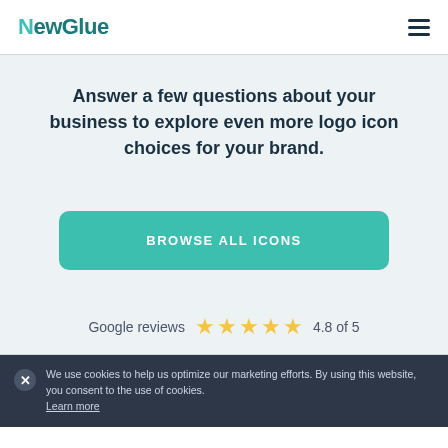NewGlue
Answer a few questions about your business to explore even more logo icon choices for your brand.
BROWSE ALL ICONS
Google reviews  4.8 of 5
We use cookies to help us optimize our marketing efforts. By using this website, you consent to the use of cookies. Learn more